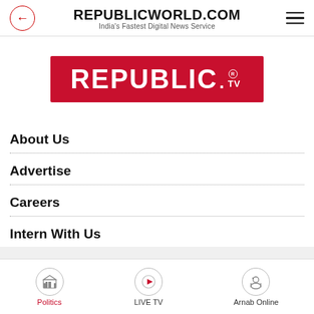REPUBLICWORLD.COM
India's Fastest Digital News Service
[Figure (logo): Republic TV logo — red rectangle with white bold text REPUBLIC and TV badge]
About Us
Advertise
Careers
Intern With Us
Politics   LIVE TV   Arnab Online